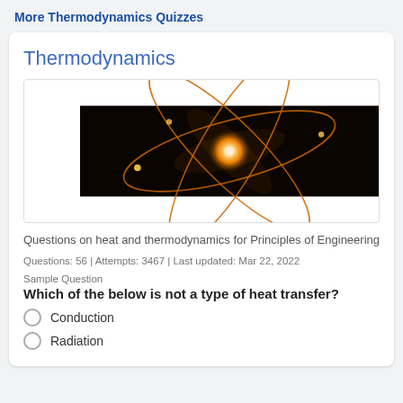More Thermodynamics Quizzes
Thermodynamics
[Figure (photo): Atom model light painting on black background, showing glowing orbital rings around a bright nucleus center]
Questions on heat and thermodynamics for Principles of Engineering
Questions: 56  |  Attempts: 3467  |  Last updated: Mar 22, 2022
Sample Question
Which of the below is not a type of heat transfer?
Conduction
Radiation